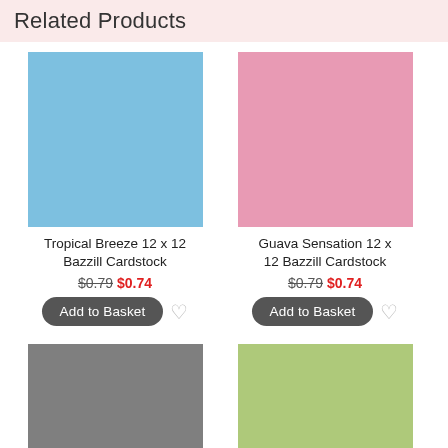Related Products
[Figure (photo): Light blue cardstock square product image]
Tropical Breeze 12 x 12 Bazzill Cardstock
$0.79 $0.74
[Figure (photo): Pink cardstock square product image]
Guava Sensation 12 x 12 Bazzill Cardstock
$0.79 $0.74
[Figure (photo): Gray cardstock square product image]
[Figure (photo): Light green cardstock square product image]